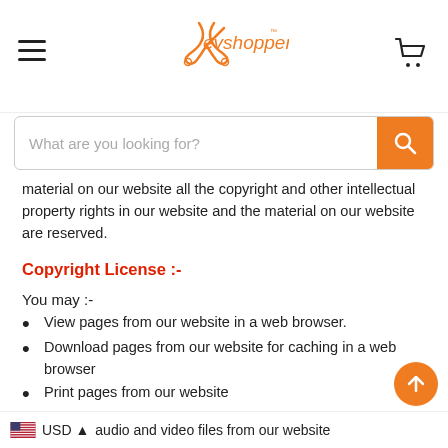evshopper (logo) — navigation header with hamburger menu and cart
What are you looking for? (search bar)
material on our website all the copyright and other intellectual property rights in our website and the material on our website are reserved.
Copyright License :-
You may :-
View pages from our website in a web browser.
Download pages from our website for caching in a web browser
Print pages from our website
Can share the pages and content on social media and social networking sites for non-commercial usage
USD  audio and video files from our website